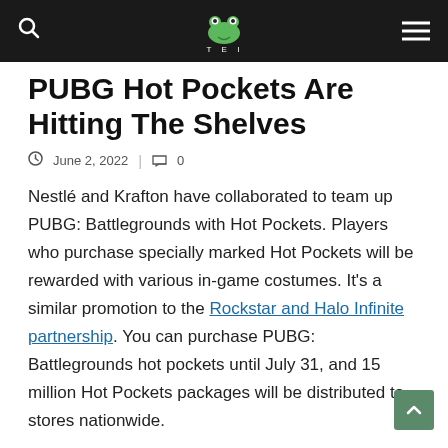TEl (site logo/header bar)
PUBG Hot Pockets Are Hitting The Shelves
June 2, 2022  |  0
Nestlé and Krafton have collaborated to team up PUBG: Battlegrounds with Hot Pockets. Players who purchase specially marked Hot Pockets will be rewarded with various in-game costumes. It's a similar promotion to the Rockstar and Halo Infinite partnership. You can purchase PUBG: Battlegrounds hot pockets until July 31, and 15 million Hot Pockets packages will be distributed to stores nationwide.